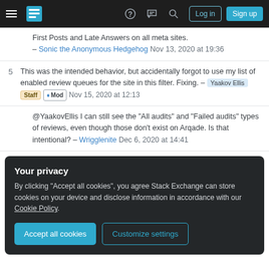Stack Exchange navigation bar with hamburger menu, logo, help, chat, search icons, Log in and Sign up buttons
First Posts and Late Answers on all meta sites. – Sonic the Anonymous Hedgehog Nov 13, 2020 at 19:36
5 This was the intended behavior, but accidentally forgot to use my list of enabled review queues for the site in this filter. Fixing. – Yaakov Ellis Staff Mod Nov 15, 2020 at 12:13
@YaakovEllis I can still see the "All audits" and "Failed audits" types of reviews, even though those don't exist on Arqade. Is that intentional? – Wrigglenite Dec 6, 2020 at 14:41
Your privacy
By clicking "Accept all cookies", you agree Stack Exchange can store cookies on your device and disclose information in accordance with our Cookie Policy.
Accept all cookies   Customize settings